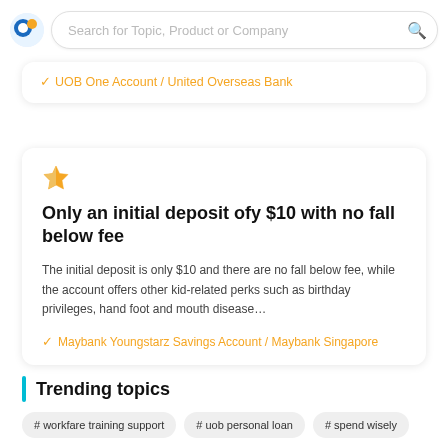Search for Topic, Product or Company
UOB One Account / United Overseas Bank
[Figure (other): Star rating icon in orange]
Only an initial deposit ofy $10 with no fall below fee
The initial deposit is only $10 and there are no fall below fee, while the account offers other kid-related perks such as birthday privileges, hand foot and mouth disease…
Maybank Youngstarz Savings Account / Maybank Singapore
Trending topics
# workfare training support
# uob personal loan
# spend wisely